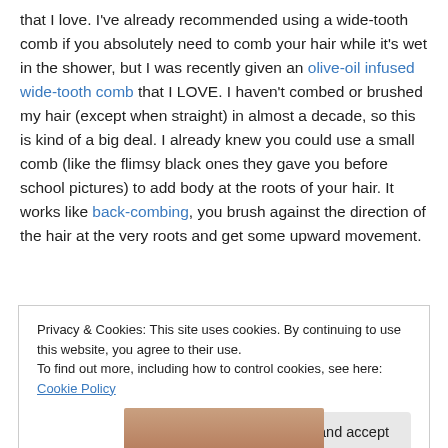that I love. I've already recommended using a wide-tooth comb if you absolutely need to comb your hair while it's wet in the shower, but I was recently given an olive-oil infused wide-tooth comb that I LOVE. I haven't combed or brushed my hair (except when straight) in almost a decade, so this is kind of a big deal. I already knew you could use a small comb (like the flimsy black ones they gave you before school pictures) to add body at the roots of your hair. It works like back-combing, you brush against the direction of the hair at the very roots and get some upward movement.
Privacy & Cookies: This site uses cookies. By continuing to use this website, you agree to their use. To find out more, including how to control cookies, see here: Cookie Policy
[Figure (photo): Partial photo strip visible at bottom of page showing skin tones]